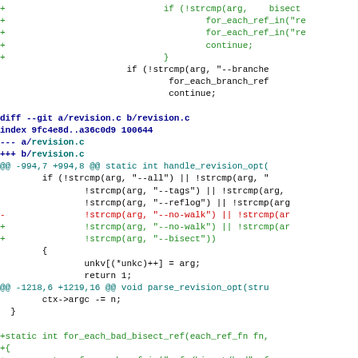[Figure (screenshot): A git diff output showing changes to revision.c, with added lines in green, removed lines in red, diff headers in blue, and context lines in black. The diff shows modifications to handle_revision_opt and parse_revision_opt functions, and addition of a new for_each_bad_bisect_ref function.]